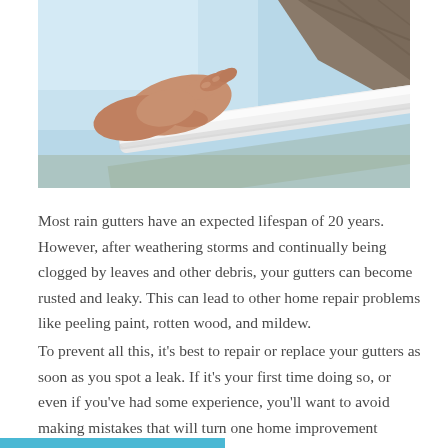[Figure (photo): Close-up photo of a person's hand adjusting or inspecting a white rain gutter attached to a roofline, with a light blue sky in the background and roofing material visible at the top right.]
Most rain gutters have an expected lifespan of 20 years. However, after weathering storms and continually being clogged by leaves and other debris, your gutters can become rusted and leaky. This can lead to other home repair problems like peeling paint, rotten wood, and mildew.
To prevent all this, it's best to repair or replace your gutters as soon as you spot a leak. If it's your first time doing so, or even if you've had some experience, you'll want to avoid making mistakes that will turn one home improvement